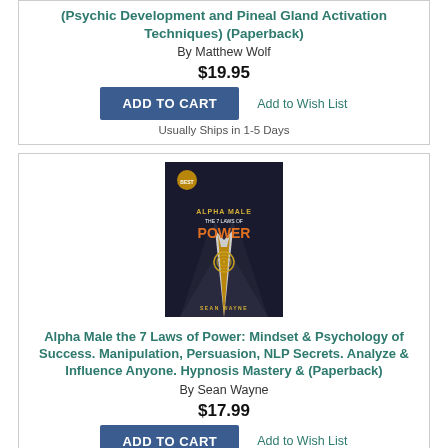(Psychic Development and Pineal Gland Activation Techniques) (Paperback)
By Matthew Wolf
$19.95
Add to Wish List
ADD TO CART
Usually Ships in 1-5 Days
[Figure (photo): Book cover of Alpha Male the 7 Laws of Power by Sean Wayne. Dark background showing a man in a suit with a gold spiral tie. Title text in gold and orange.]
Alpha Male the 7 Laws of Power: Mindset & Psychology of Success. Manipulation, Persuasion, NLP Secrets. Analyze & Influence Anyone. Hypnosis Mastery & (Paperback)
By Sean Wayne
$17.99
Add to Wish List
ADD TO CART